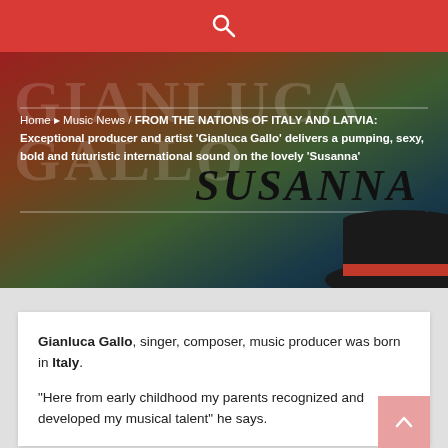GIANLUCA GALLO - Music website
[Figure (screenshot): Hero banner with gradient background (red to teal/dark), large watermark text 'GIANLUCA GALLO', decorative 'SUSANNA' script title, and a black hat with red band in bottom right]
Home > Music News / FROM THE NATIONS OF ITALY AND LATVIA: Exceptional producer and artist 'Gianluca Gallo' delivers a pumping, sexy, bold and futuristic international sound on the lovely 'Susanna'
Gianluca Gallo, singer, composer, music producer was born in Italy.
“Here from early childhood my parents recognized and developed my musical talent” he says.